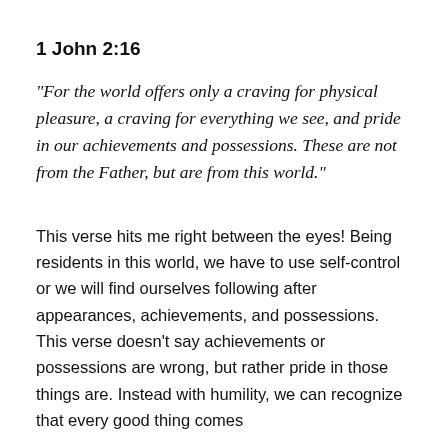1 John 2:16
"For the world offers only a craving for physical pleasure, a craving for everything we see, and pride in our achievements and possessions. These are not from the Father, but are from this world."
This verse hits me right between the eyes! Being residents in this world, we have to use self-control or we will find ourselves following after appearances, achievements, and possessions. This verse doesn't say achievements or possessions are wrong, but rather pride in those things are. Instead with humility, we can recognize that every good thing comes